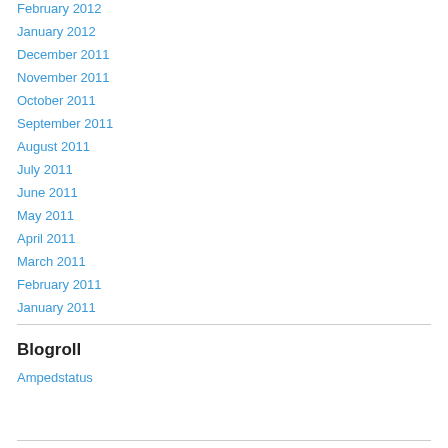February 2012
January 2012
December 2011
November 2011
October 2011
September 2011
August 2011
July 2011
June 2011
May 2011
April 2011
March 2011
February 2011
January 2011
Blogroll
Ampedstatus